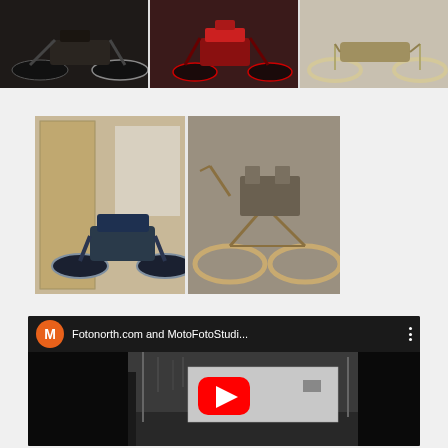[Figure (photo): Grid of three vintage motorcycle photos in the top row: left shows a dark motorcycle, center shows a red Indian motorcycle, right shows a white/cream colored old motorcycle]
[Figure (photo): Two more vintage motorcycle photos: left shows a blue motorcycle indoors, right shows a very old rusted/antique motorcycle]
[Figure (screenshot): YouTube video embed showing thumbnail of black and white photo of a garage/building exterior. Video title: Fotonorth.com and MotoFotoStudi... with orange M avatar icon and YouTube play button]